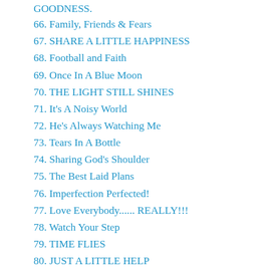GOODNESS.
66. Family, Friends & Fears
67. SHARE A LITTLE HAPPINESS
68. Football and Faith
69. Once In A Blue Moon
70. THE LIGHT STILL SHINES
71. It's A Noisy World
72. He's Always Watching Me
73. Tears In A Bottle
74. Sharing God's Shoulder
75. The Best Laid Plans
76. Imperfection Perfected!
77. Love Everybody...... REALLY!!!
78. Watch Your Step
79. TIME FLIES
80. JUST A LITTLE HELP
81. IT'S A HARD HAT LIFE